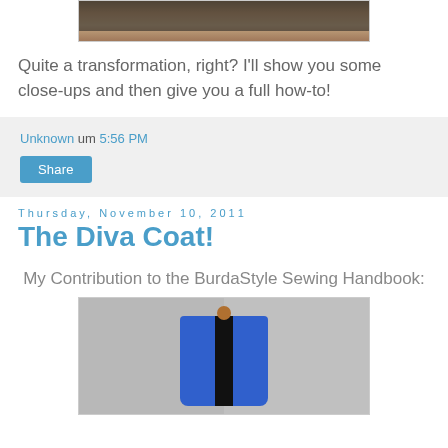[Figure (photo): Top portion of a photo showing a wooden floor surface with dark object, partially cropped at top of page]
Quite a transformation, right? I'll show you some close-ups and then give you a full how-to!
Unknown um 5:56 PM
Share
Thursday, November 10, 2011
The Diva Coat!
My Contribution to the BurdaStyle Sewing Handbook:
[Figure (photo): Photo of a blue coat with white embroidery hanging on a hanger against a grey background]